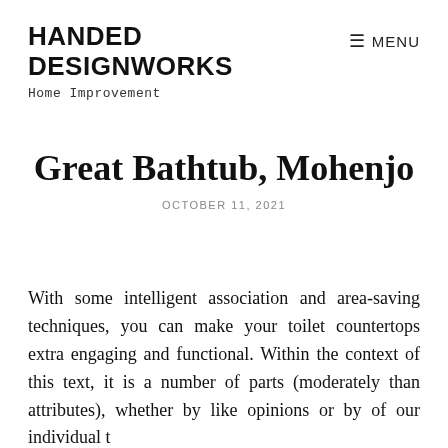HANDED DESIGNWORKS
Home Improvement
≡ MENU
Great Bathtub, Mohenjo
OCTOBER 11, 2021
With some intelligent association and area-saving techniques, you can make your toilet countertops extra engaging and functional. Within the context of this text, it is a number of parts (moderately than attributes), whether by like opinions or by of our individual t…